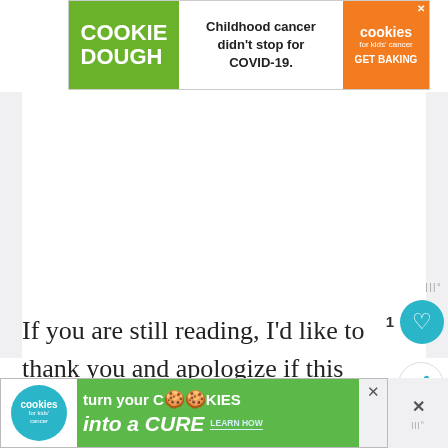[Figure (screenshot): Top advertisement banner for 'cookies for kids cancer' Cookie Dough fundraiser. Green section with text 'COOKIE DOUGH', white section 'Childhood cancer didn't stop for COVID-19.', orange section with 'cookies for kids cancer GET BAKING']
If you are still reading, I'd like to thank you and apologize if this post was boring for you!
[Figure (screenshot): Bottom advertisement banner for 'cookies for kids cancer' with logo circle, green section 'turn your COOKIES into a CURE LEARN HOW', close button and watermark icons]